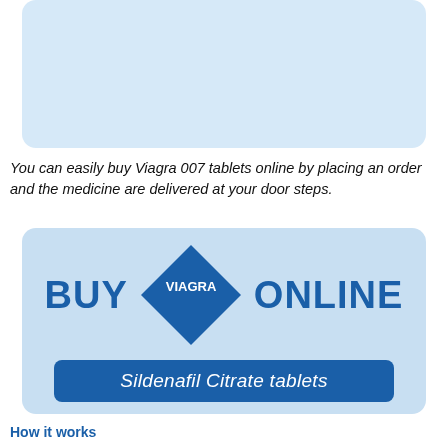[Figure (illustration): Light blue rounded rectangle placeholder image area at the top of the page]
You can easily buy Viagra 007 tablets online by placing an order and the medicine are delivered at your door steps.
[Figure (infographic): Blue 'BUY VIAGRA ONLINE' advertisement banner with a diamond-shaped Viagra logo in the center and a 'Sildenafil Citrate tablets' bar below, on a light blue rounded background]
How it works